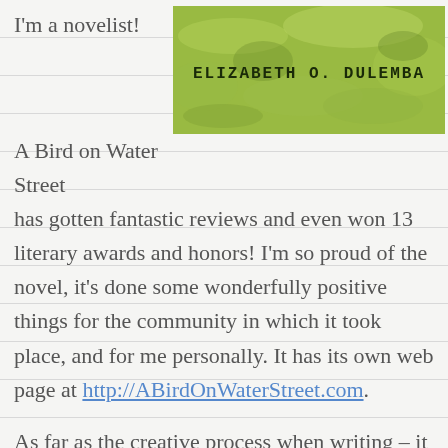I'm a novelist!
[Figure (illustration): Green textured book cover with the author name ELIZABETH O. DULEMBA in dark text]
A Bird on Water Street has gotten fantastic reviews and even won 13 literary awards and honors! I'm so proud of the novel, it's done some wonderfully positive things for the community in which it took place, and for me personally. It has its own web page at http://ABirdOnWaterStreet.com.
As far as the creative process when writing – it has to be dead quiet outside my head because it is so loud inside my head! Now that the writing muse has been set loose, there's no stopping her.